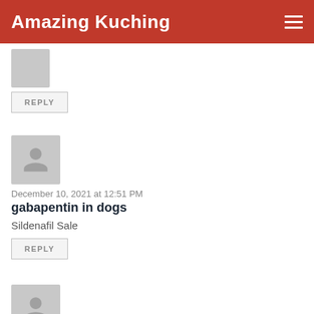Amazing Kuching
REPLY
December 10, 2021 at 12:51 PM
gabapentin in dogs
Sildenafil Sale
REPLY
December 19, 2021 at 2:34 AM
buy viagra jelly online